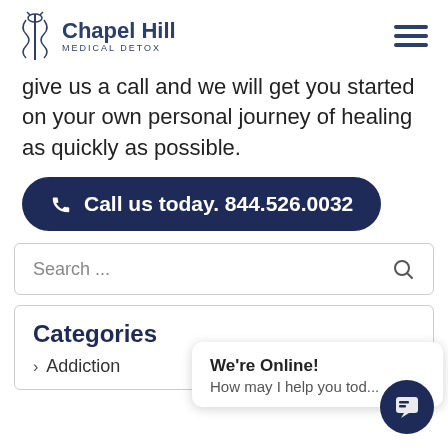Chapel Hill MEDICAL DETOX
give us a call and we will get you started on your own personal journey of healing as quickly as possible.
Call us today. 844.526.0032
Search ...
Categories
Addiction
We're Online! How may I help you tod...